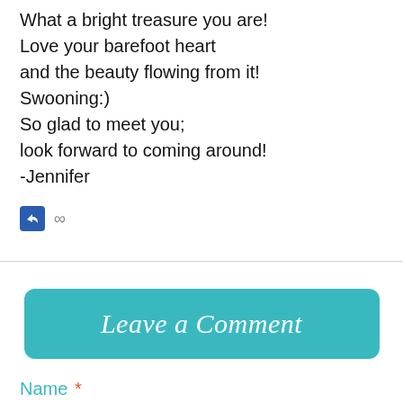What a bright treasure you are!
Love your barefoot heart
and the beauty flowing from it!
Swooning:)
So glad to meet you;
look forward to coming around!
-Jennifer
[Figure (other): Reply icon (blue square with arrow) and infinity symbol]
Leave a Comment
Name *